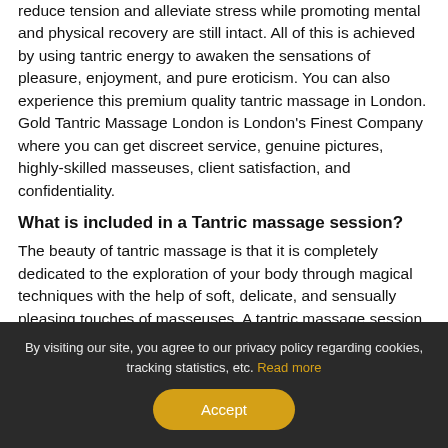reduce tension and alleviate stress while promoting mental and physical recovery are still intact. All of this is achieved by using tantric energy to awaken the sensations of pleasure, enjoyment, and pure eroticism. You can also experience this premium quality tantric massage in London. Gold Tantric Massage London is London's Finest Company where you can get discreet service, genuine pictures, highly-skilled masseuses, client satisfaction, and confidentiality.
What is included in a Tantric massage session?
The beauty of tantric massage is that it is completely dedicated to the exploration of your body through magical techniques with the help of soft, delicate, and sensually pleasing touches of masseuses. A tantric massage session will let you experience and…
By visiting our site, you agree to our privacy policy regarding cookies, tracking statistics, etc. Read more
Accept